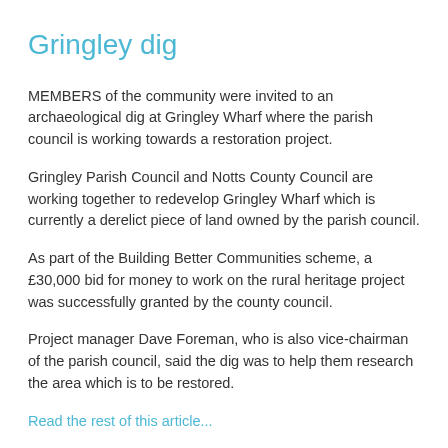Gringley dig
MEMBERS of the community were invited to an archaeological dig at Gringley Wharf where the parish council is working towards a restoration project.
Gringley Parish Council and Notts County Council are working together to redevelop Gringley Wharf which is currently a derelict piece of land owned by the parish council.
As part of the Building Better Communities scheme, a £30,000 bid for money to work on the rural heritage project was successfully granted by the county council.
Project manager Dave Foreman, who is also vice-chairman of the parish council, said the dig was to help them research the area which is to be restored.
Read the rest of this article...